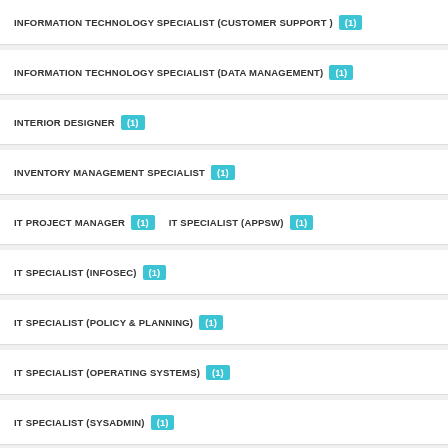INFORMATION TECHNOLOGY SPECIALIST (CUSTOMER SUPPORT) (1)
INFORMATION TECHNOLOGY SPECIALIST (DATA MANAGEMENT) (1)
INTERIOR DESIGNER (1)
INVENTORY MANAGEMENT SPECIALIST (1)
IT PROJECT MANAGER (1)  IT SPECIALIST (APPSW) (1)
IT SPECIALIST (INFOSEC) (1)
IT SPECIALIST (POLICY & PLANNING) (1)
IT SPECIALIST (OPERATING SYSTEMS) (1)
IT SPECIALIST (SYSADMIN) (1)
ILLUSTRATOR - DIRECT HIRE AUTHORITY (1)
INDUSTIAL EQUIPMENT MAINTENANCE HELPER/TRAINEE - DIRECT HIRE AUTHORITY
INDUSTRIAL ENGINEER TECHNICIAN - DIRECT HIRE AUTHORITY (1)
INDUSTRIAL ENGINEERING TECHNICAL - DIRECT HIRE AUTHORITY (1)